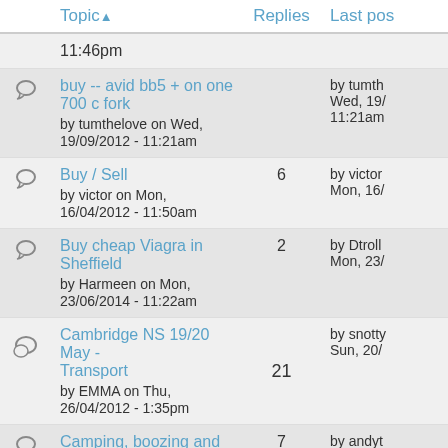|  | Topic ▲ | Replies | Last pos |
| --- | --- | --- | --- |
|  | 11:46pm |  |  |
|  | buy -- avid bb5 + on one 700 c fork
by tumthelove on Wed, 19/09/2012 - 11:21am |  | by tumth
Wed, 19/
11:21am |
|  | Buy / Sell
by victor on Mon, 16/04/2012 - 11:50am | 6 | by victor
Mon, 16/ |
|  | Buy cheap Viagra in Sheffield
by Harmeen on Mon, 23/06/2014 - 11:22am | 2 | by Dtroll
Mon, 23/ |
|  | Cambridge NS 19/20 May - Transport
by EMMA on Thu, 26/04/2012 - 1:35pm | 21 | by snotty
Sun, 20/ |
|  | Camping, boozing and polo...
by mashphat on Thu, 17/04/2014 - 6:34pm | 7 | by andyt
Fri, 25/0 |